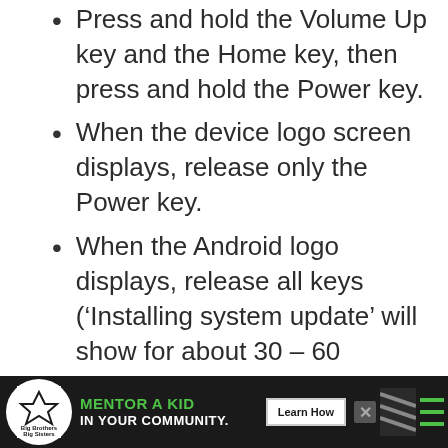Press and hold the Volume Up key and the Home key, then press and hold the Power key.
When the device logo screen displays, release only the Power key.
When the Android logo displays, release all keys (‘Installing system update’ will show for about 30 – 60 seconds before showing the
[Figure (infographic): Advertisement banner for Big Brothers Big Sisters: 'MENTOR A KID IN YOUR COMMUNITY.' with a Learn How button and close button.]